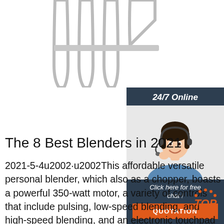[Figure (photo): Partial view of a blender with metallic prongs/tines visible at top left on white background]
[Figure (infographic): 24/7 Online customer service sidebar ad with a woman wearing a headset, 'Click here for free chat!' text, and an orange QUOTATION button]
The 8 Best Blenders in 2021
2021-5-4u2002·u2002This affordable versatile personal blender, which also as a chopper, boasts a powerful 350-watt motor, a variety of controls that include pulsing, low-speed blending, and high-speed blending, and an electronic touchpad with LED indicator lights.
[Figure (logo): TOP badge logo in orange]